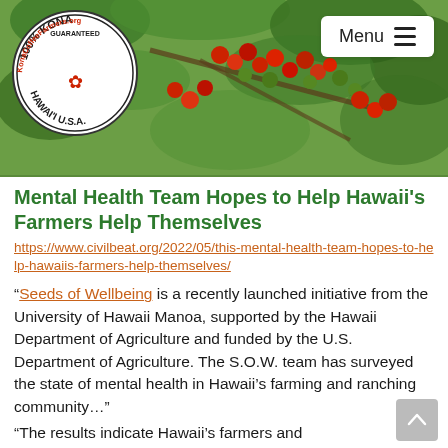[Figure (photo): Header photo showing coffee plant with red and green coffee cherries/berries on branches with leaves, with Kona Coffee Farmers logo overlay on left and Menu button on right]
Mental Health Team Hopes to Help Hawaii's Farmers Help Themselves
https://www.civilbeat.org/2022/05/this-mental-health-team-hopes-to-help-hawaiis-farmers-help-themselves/
"Seeds of Wellbeing is a recently launched initiative from the University of Hawaii Manoa, supported by the Hawaii Department of Agriculture and funded by the U.S. Department of Agriculture. The S.O.W. team has surveyed the state of mental health in Hawaii's farming and ranching community..."
"The results indicate Hawaii's farmers and